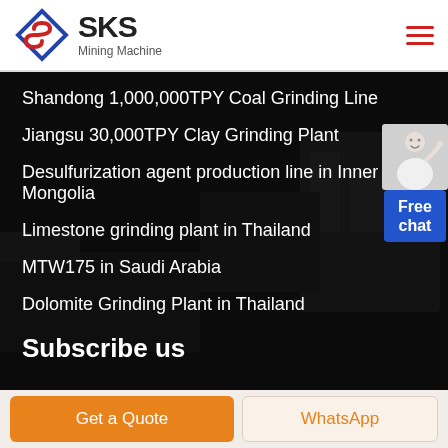[Figure (logo): SKS Mining Machine logo with diamond S shape in blue and red]
Shandong 1,000,000TPY Coal Grinding Line
Jiangsu 30,000TPY Clay Grinding Plant
Desulfurization agent production line in Inner Mongolia
Limestone grinding plant in Thailand
MTW175 in Saudi Arabia
Dolomite Grinding Plant in Thailand
Subscribe us
Get a Quote
WhatsApp